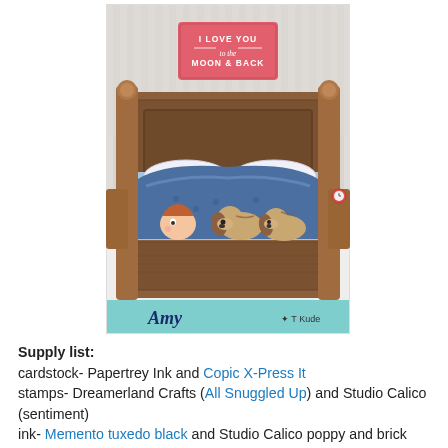[Figure (illustration): A detailed colored illustration of a handmade greeting card showing a wooden bed with a child and two dogs snuggled under a blue patterned blanket/comforter. Above the headboard hangs a pink/coral sign reading 'I LOVE YOU to the MOON & BACK'. The bed has wooden posts and nightstands on each side. At the bottom of the card is a teal/aqua strip with the name 'Amy' in script and a small logo/signature on the right.]
Supply list:
cardstock- Papertrey Ink and Copic X-Press It
stamps- Dreamerland Crafts (All Snuggled Up) and Studio Calico (sentiment)
ink- Memento tuxedo black and Studio Calico poppy and brick house